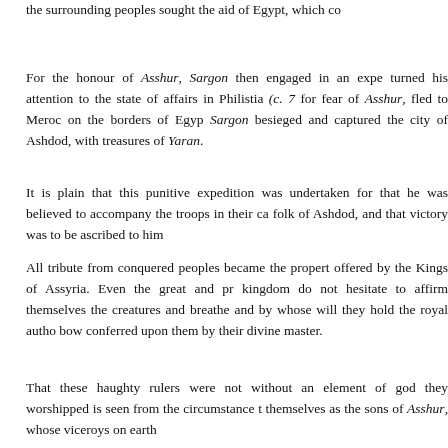the surrounding peoples sought the aid of Egypt, which co
For the honour of Asshur, Sargon then engaged in an expe turned his attention to the state of affairs in Philistia (c. 7 for fear of Asshur, fled to Meroc on the borders of Egyp Sargon besieged and captured the city of Ashdod, with treasures of Yaran.
It is plain that this punitive expedition was undertaken for that he was believed to accompany the troops in their ca folk of Ashdod, and that victory was to be ascribed to him
All tribute from conquered peoples became the propert offered by the Kings of Assyria. Even the great and pr kingdom do not hesitate to affirm themselves the creatures and breathe and by whose will they hold the royal autho bow conferred upon them by their divine master.
That these haughty rulers were not without an element of god they worshipped is seen from the circumstance t themselves as the sons of Asshur, whose viceroys on earth